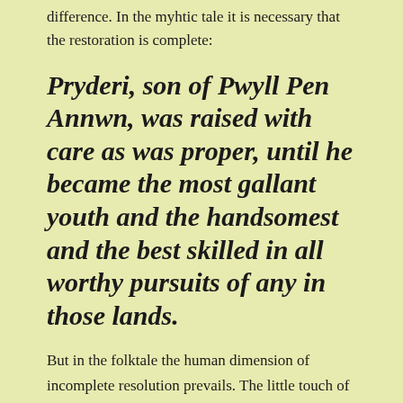difference. In the myhtic tale it is necessary that the restoration is complete:
Pryderi, son of Pwyll Pen Annwn, was raised with care as was proper, until he became the most gallant youth and the handsomest and the best skilled in all worthy pursuits of any in those lands.
But in the folktale the human dimension of incomplete resolution prevails. The little touch of one unfinished shirt resulting in one brother retaining a swan’s wing instead of an arm suggests that, for us, it never quite works out so neatly. As with the gods, so with us; but imperfectly so.